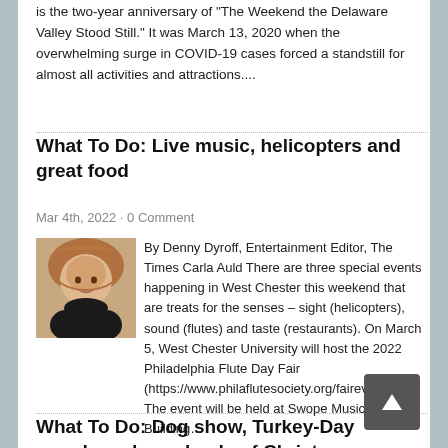is the two-year anniversary of “The Weekend the Delaware Valley Stood Still.” It was March 13, 2020 when the overwhelming surge in COVID-19 cases forced a standstill for almost all activities and attractions....
What To Do: Live music, helicopters and great food
Mar 4th, 2022 · 0 Comment
[Figure (photo): Headshot photo of Carla Auld, a woman with reddish-brown hair]
By Denny Dyroff, Entertainment Editor, The Times Carla Auld There are three special events happening in West Chester this weekend that are treats for the senses – sight (helicopters), sound (flutes) and taste (restaurants). On March 5, West Chester University will host the 2022 Philadelphia Flute Day Fair (https://www.philaflutesociety.org/fairevents). The event will be held at Swope Music Building...
What To Do: Dog show, Turkey-Day parade and yes, loads of Christmas stuff